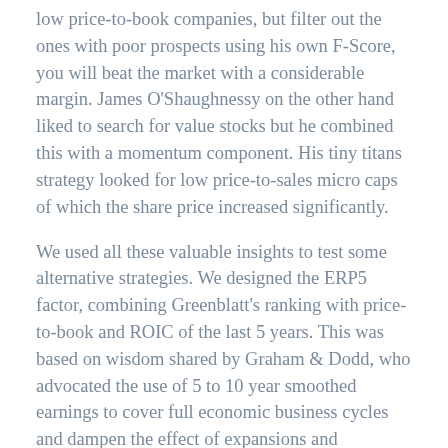low price-to-book companies, but filter out the ones with poor prospects using his own F-Score, you will beat the market with a considerable margin. James O'Shaughnessy on the other hand liked to search for value stocks but he combined this with a momentum component. His tiny titans strategy looked for low price-to-sales micro caps of which the share price increased significantly.
We used all these valuable insights to test some alternative strategies. We designed the ERP5 factor, combining Greenblatt's ranking with price-to-book and ROIC of the last 5 years. This was based on wisdom shared by Graham & Dodd, who advocated the use of 5 to 10 year smoothed earnings to cover full economic business cycles and dampen the effect of expansions and recessions. Our tests also showed that if you combine the Greenblatt Magic Formula with F-Score